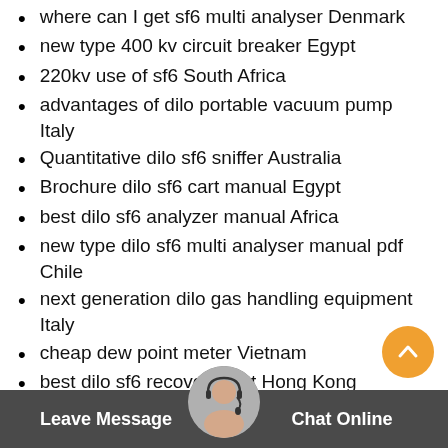where can I get sf6 multi analyser Denmark
new type 400 kv circuit breaker Egypt
220kv use of sf6 South Africa
advantages of dilo portable vacuum pump Italy
Quantitative dilo sf6 sniffer Australia
Brochure dilo sf6 cart manual Egypt
best dilo sf6 analyzer manual Africa
new type dilo sf6 multi analyser manual pdf Chile
next generation dilo gas handling equipment Italy
cheap dew point meter Vietnam
best dilo sf6 recovery cart Hong Kong
cheap dilo gas leak detector Singapore
low cost dilo sf6 leak detector India
220kv dilo sf6 vacuum pump Sweden
Leave Message   Chat Online